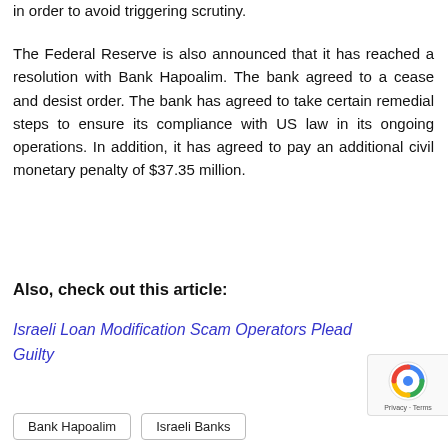in order to avoid triggering scrutiny.
The Federal Reserve is also announced that it has reached a resolution with Bank Hapoalim. The bank agreed to a cease and desist order. The bank has agreed to take certain remedial steps to ensure its compliance with US law in its ongoing operations. In addition, it has agreed to pay an additional civil monetary penalty of $37.35 million.
Also, check out this article:
Israeli Loan Modification Scam Operators Plead Guilty
Bank Hapoalim
Israeli Banks